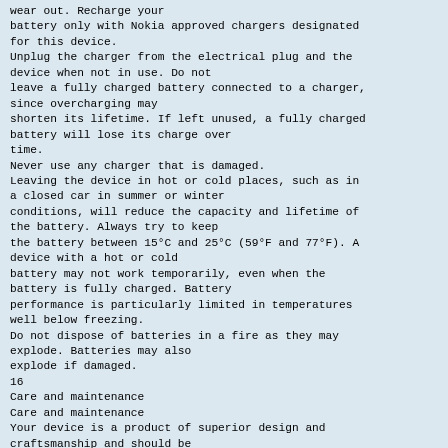wear out. Recharge your battery only with Nokia approved chargers designated for this device. Unplug the charger from the electrical plug and the device when not in use. Do not leave a fully charged battery connected to a charger, since overcharging may shorten its lifetime. If left unused, a fully charged battery will lose its charge over time. Never use any charger that is damaged. Leaving the device in hot or cold places, such as in a closed car in summer or winter conditions, will reduce the capacity and lifetime of the battery. Always try to keep the battery between 15°C and 25°C (59°F and 77°F). A device with a hot or cold battery may not work temporarily, even when the battery is fully charged. Battery performance is particularly limited in temperatures well below freezing. Do not dispose of batteries in a fire as they may explode. Batteries may also explode if damaged.
16
Care and maintenance
Care and maintenance
Your device is a product of superior design and craftsmanship and should be treated with care. The following suggestions will help you protect your warranty coverage.
Keep the device dry. Precipitation, humidity, and